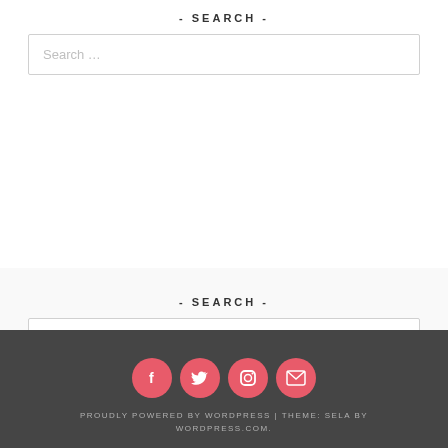- SEARCH -
Search …
- SEARCH -
Search …
[Figure (infographic): Four pink circular social media icons: Facebook, Twitter, Instagram, Email]
PROUDLY POWERED BY WORDPRESS | THEME: SELA BY WORDPRESS.COM.